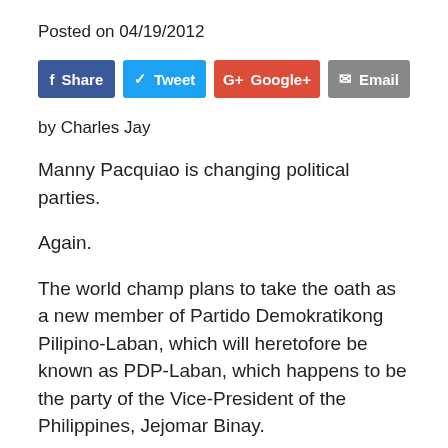Posted on 04/19/2012
[Figure (other): Social sharing buttons: Share (Facebook), Tweet (Twitter), Google+, Email]
by Charles Jay
Manny Pacquiao is changing political parties.
Again.
The world champ plans to take the oath as a new member of Partido Demokratikong Pilipino-Laban, which will heretofore be known as PDP-Laban, which happens to be the party of the Vice-President of the Philippines, Jejomar Binay.
However, it is not the party of the sitting president, Benigno Aquino III, so I'm sure we'll be treated to more political soap opera in the weeks and months to come.